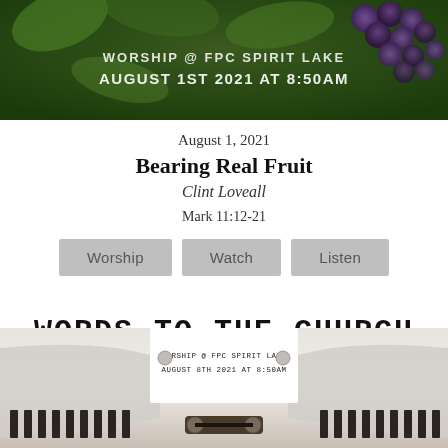[Figure (photo): Photograph of grapes on a vine with green leaves, overlaid with text: WORSHIP @ FPC SPIRIT LAKE / AUGUST 1ST 2021 AT 8:50AM]
August 1, 2021
Bearing Real Fruit
Clint Loveall
Mark 11:12-21
Worship   Watch   Listen
WORDS TO THE CHURCH
[Figure (photo): Close-up photograph of a typewriter with the paper showing: WORSHIP @ FPC SPIRIT LAKE / AUGUST 8TH 2021 AT 8:50AM]